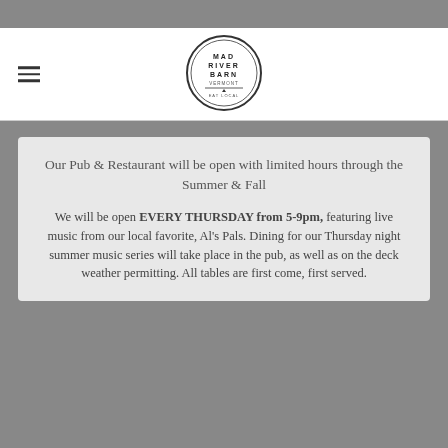[Figure (logo): Mad River Barn Vermont Eat Local circular logo]
Our Pub & Restaurant will be open with limited hours through the Summer & Fall
We will be open EVERY THURSDAY from 5-9pm, featuring live music from our local favorite, Al's Pals. Dining for our Thursday night summer music series will take place in the pub, as well as on the deck weather permitting. All tables are first come, first served.